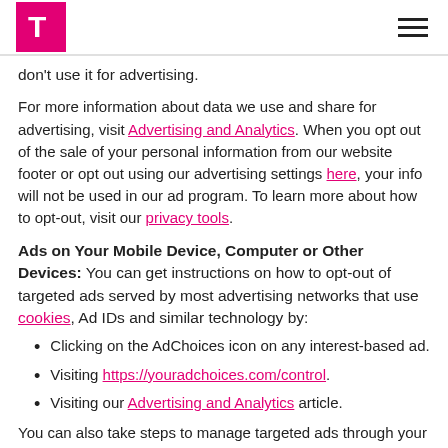T-Mobile logo and navigation menu
don't use it for advertising.
For more information about data we use and share for advertising, visit Advertising and Analytics. When you opt out of the sale of your personal information from our website footer or opt out using our advertising settings here, your info will not be used in our ad program. To learn more about how to opt-out, visit our privacy tools.
Ads on Your Mobile Device, Computer or Other Devices: You can get instructions on how to opt-out of targeted ads served by most advertising networks that use cookies, Ad IDs and similar technology by:
Clicking on the AdChoices icon on any interest-based ad.
Visiting https://youradchoices.com/control.
Visiting our Advertising and Analytics article.
You can also take steps to manage targeted ads through your system settings. Resetting your device advertising ID does not opt-out your device from targeted ads, but data